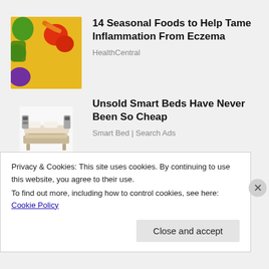[Figure (photo): Colorful assortment of fresh fruits and vegetables including peppers, carrots, tomatoes, oranges, kiwis, and greens]
14 Seasonal Foods to Help Tame Inflammation From Eczema
HealthCentral
[Figure (photo): Modern smart bed with various adjustable features and mechanical components]
Unsold Smart Beds Have Never Been So Cheap
Smart Bed | Search Ads
Privacy & Cookies: This site uses cookies. By continuing to use this website, you agree to their use.
To find out more, including how to control cookies, see here: Cookie Policy